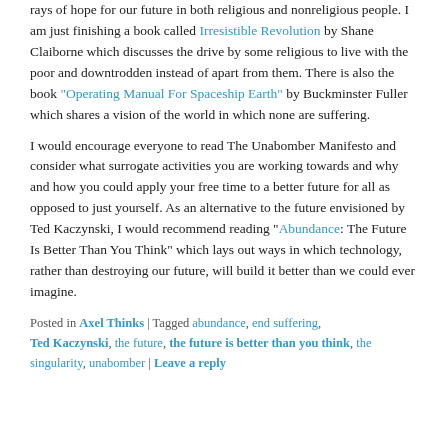rays of hope for our future in both religious and nonreligious people. I am just finishing a book called Irresistible Revolution by Shane Claiborne which discusses the drive by some religious to live with the poor and downtrodden instead of apart from them. There is also the book "Operating Manual For Spaceship Earth" by Buckminster Fuller which shares a vision of the world in which none are suffering.
I would encourage everyone to read The Unabomber Manifesto and consider what surrogate activities you are working towards and why and how you could apply your free time to a better future for all as opposed to just yourself. As an alternative to the future envisioned by Ted Kaczynski, I would recommend reading "Abundance: The Future Is Better Than You Think" which lays out ways in which technology, rather than destroying our future, will build it better than we could ever imagine.
Posted in Axel Thinks | Tagged abundance, end suffering, Ted Kaczynski, the future, the future is better than you think, the singularity, unabomber | Leave a reply